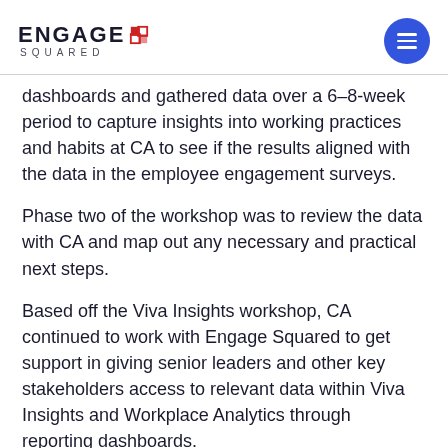ENGAGE SQUARED
dashboards and gathered data over a 6–8-week period to capture insights into working practices and habits at CA to see if the results aligned with the data in the employee engagement surveys.
Phase two of the workshop was to review the data with CA and map out any necessary and practical next steps.
Based off the Viva Insights workshop, CA continued to work with Engage Squared to get support in giving senior leaders and other key stakeholders access to relevant data within Viva Insights and Workplace Analytics through reporting dashboards.